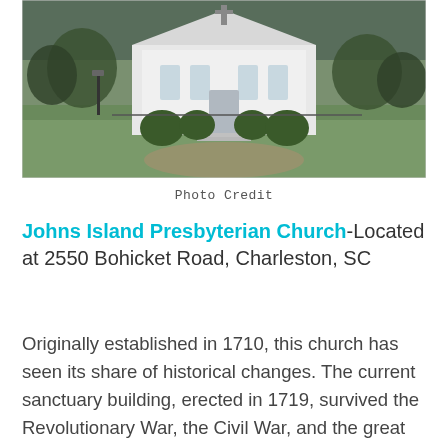[Figure (photo): Exterior photograph of Johns Island Presbyterian Church - a white building with green lawn and shrubs in the foreground, taken at dusk or overcast light]
Photo Credit
Johns Island Presbyterian Church-Located at 2550 Bohicket Road, Charleston, SC
Originally established in 1710, this church has seen its share of historical changes. The current sanctuary building, erected in 1719, survived the Revolutionary War, the Civil War, and the great earthquake of 1886, and it stands today in a beautiful state of